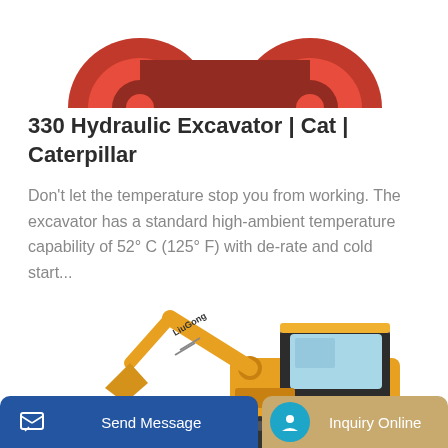[Figure (photo): Partial view of a red/orange wheeled excavator or loader, cropped at top showing wheels and undercarriage against white background]
330 Hydraulic Excavator | Cat | Caterpillar
Don't let the temperature stop you from working. The excavator has a standard high-ambient temperature capability of 52° C (125° F) with de-rate and cold start...
[Figure (photo): Yellow LiuGong mini excavator shown from the side with arm extended, partially cropped at bottom]
Send Message | Inquiry Online